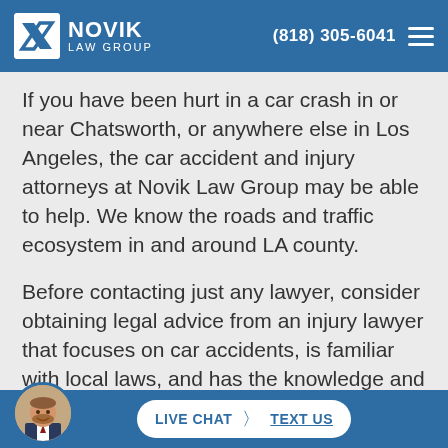Novik Law Group | (818) 305-6041
If you have been hurt in a car crash in or near Chatsworth, or anywhere else in Los Angeles, the car accident and injury attorneys at Novik Law Group may be able to help. We know the roads and traffic ecosystem in and around LA county.
Before contacting just any lawyer, consider obtaining legal advice from an injury lawyer that focuses on car accidents, is familiar with local laws, and has the knowledge and exper... to ... es that
[Figure (other): Bottom chat bar with attorney avatar, Live Chat and Text Us buttons]